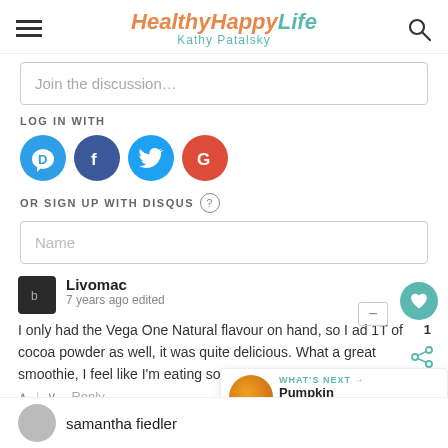HealthyHappyLife — Kathy Patalsky
Join the discussion…
LOG IN WITH
[Figure (infographic): Social login icons: Disqus (blue speech bubble D), Facebook (dark blue circle F), Twitter (light blue circle bird), Google (red circle G)]
OR SIGN UP WITH DISQUS ?
Name
Livomac
7 years ago edited
I only had the Vega One Natural flavour on hand, so I ad 1T of cocoa powder as well, it was quite delicious. What a great smoothie, I feel like I'm eating something
Reply
[Figure (infographic): WHAT'S NEXT arrow label with Pumpkin Butter Lover text and circular food image]
samantha fiedler